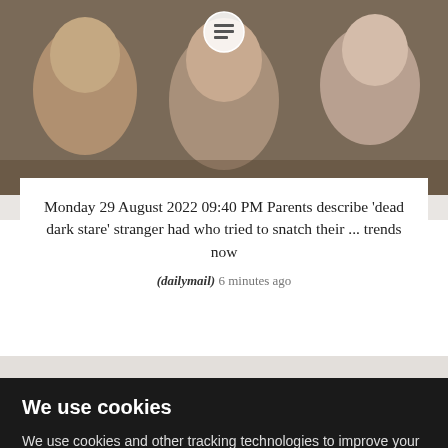[Figure (photo): A group of people including a child with a downcast expression, appearing to be in a crowd or public setting. A circular play button icon is overlaid at the top center.]
Monday 29 August 2022 09:40 PM Parents describe 'dead dark stare' stranger had who tried to snatch their ... trends now
(dailymail) 6 minutes ago
We use cookies
We use cookies and other tracking technologies to improve your browsing experience on our website, to show you personalized content and targeted ads, to analyze our website traffic, and